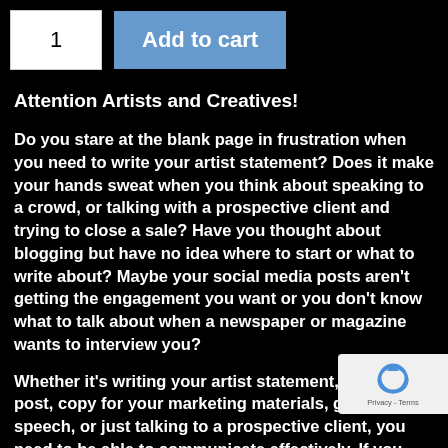[Figure (screenshot): E-commerce quantity selector showing '1' in a white input box and a blue 'Add to cart' button]
Attention Artists and Creatives!
Do you stare at the blank page in frustration when you need to write your artist statement? Does it make your hands sweat when you think about speaking to a crowd, or talking with a prospective client and trying to close a sale? Have you thought about blogging but have no idea where to start or what to write about? Maybe your social media posts aren't getting the engagement you want or you don't know what to talk about when a newspaper or magazine wants to interview you?
Whether it's writing your artist statement, a blog post, copy for your marketing materials, giving a speech, or just talking to a prospective client, you need to be able to communicate effectively. If you can't get your message across in an efficient and clear manner, no one will pay attention to you. If you can't write an interesting pitch, media outlets, retailers, and galleries will turn you away. If
[Figure (logo): reCAPTCHA widget with circular arrow logo and 'Privacy - Terms' text]